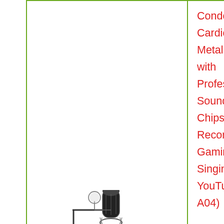[Figure (photo): Product photo of a condenser microphone kit with boom arm stand]
Condenser Cardioid Metal Mic Kit with Professional Sound Chipset for Recording, Gaming, Singing, YouTube (AU-A04)
Go to amazon.co
Logitech for Creators Blue